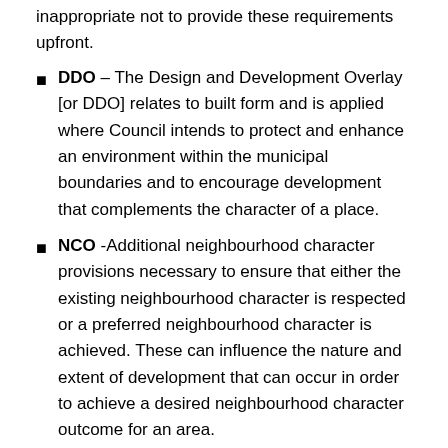inappropriate not to provide these requirements upfront.
DDO – The Design and Development Overlay [or DDO] relates to built form and is applied where Council intends to protect and enhance an environment within the municipal boundaries and to encourage development that complements the character of a place.
NCO -Additional neighbourhood character provisions necessary to ensure that either the existing neighbourhood character is respected or a preferred neighbourhood character is achieved. These can influence the nature and extent of development that can occur in order to achieve a desired neighbourhood character outcome for an area.
Council's Draft Activity Centre, Housing and Local Economy Strategy of May 2017 states: